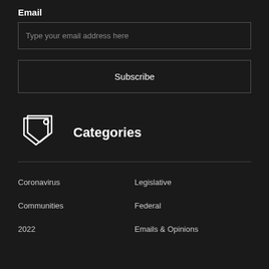Email
Type your email address here
Subscribe
Categories
Coronavirus
Legislative
Communities
Federal
2022
Emails & Opinions